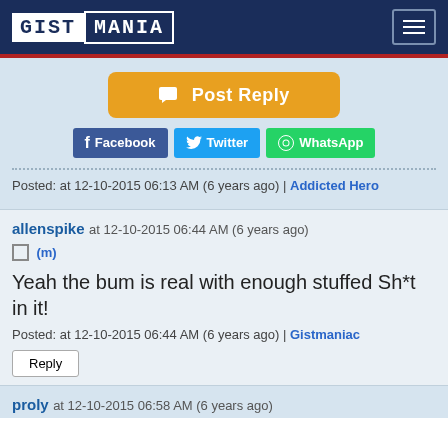GISTMANIA
[Figure (logo): GISTMANIA website logo - white box with GIST in dark blue monospace, MANIA in white on dark blue background]
Post Reply
Facebook  Twitter  WhatsApp
Posted: at 12-10-2015 06:13 AM (6 years ago) | Addicted Hero
allenspike at 12-10-2015 06:44 AM (6 years ago)
(m)
Yeah the bum is real with enough stuffed Sh*t in it!
Posted: at 12-10-2015 06:44 AM (6 years ago) | Gistmaniac
Reply
proly at 12-10-2015 06:58 AM (6 years ago)